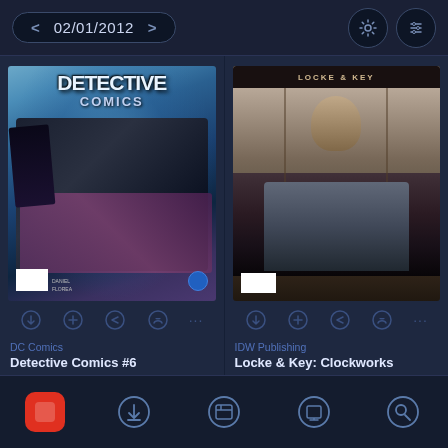02/01/2012
[Figure (screenshot): Detective Comics #6 comic book cover showing Batman fighting, with blue/icy tones and 'DETECTIVE COMICS' title at top]
[Figure (screenshot): Locke & Key: Clockworks comic book cover showing figures in elevator shaft, dark tones]
DC Comics
Detective Comics #6
IDW Publishing
Locke & Key: Clockworks
Bottom navigation bar with home, download, library, reading, and search icons